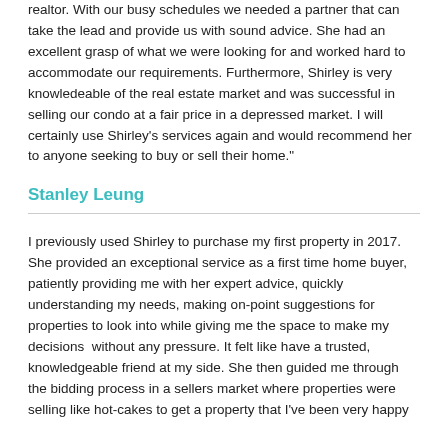realtor. With our busy schedules we needed a partner that can take the lead and provide us with sound advice. She had an excellent grasp of what we were looking for and worked hard to accommodate our requirements. Furthermore, Shirley is very knowledeable of the real estate market and was successful in selling our condo at a fair price in a depressed market. I will certainly use Shirley's services again and would recommend her to anyone seeking to buy or sell their home."
Stanley Leung
I previously used Shirley to purchase my first property in 2017. She provided an exceptional service as a first time home buyer, patiently providing me with her expert advice, quickly understanding my needs, making on-point suggestions for properties to look into while giving me the space to make my decisions  without any pressure. It felt like have a trusted, knowledgeable friend at my side. She then guided me through the bidding process in a sellers market where properties were selling like hot-cakes to get a property that I've been very happy